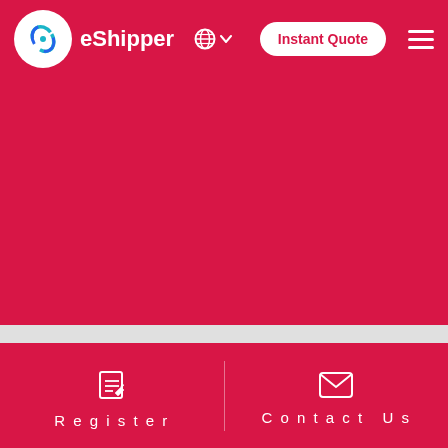eShipper | Instant Quote
[Figure (logo): eShipper logo with circular icon and brand name, globe/language selector, Instant Quote button, and hamburger menu]
[Figure (infographic): Large crimson/red background area - main content region of eShipper website]
Register | Contact Us